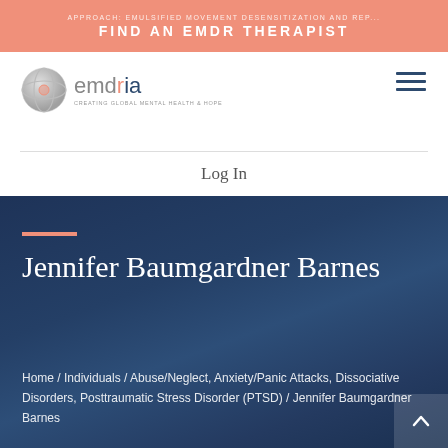FIND AN EMDR THERAPIST
[Figure (logo): EMDRIA logo with circular globe icon, text 'emdria' with orange and dark blue coloring, tagline 'CREATING GLOBAL MENTAL HEALTH & HOPE']
Log In
Jennifer Baumgardner Barnes
Home / Individuals / Abuse/Neglect, Anxiety/Panic Attacks, Dissociative Disorders, Posttraumatic Stress Disorder (PTSD) / Jennifer Baumgardner Barnes